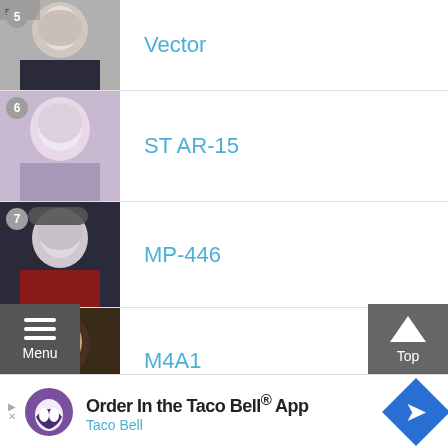5 Vector
6 ST AR-15
7 MP-446
8 M4A1
9 M16A1
10 (partial)
[Figure (screenshot): Menu button overlay (bottom left)]
[Figure (screenshot): Top button overlay (bottom right)]
[Figure (screenshot): Taco Bell advertisement banner at bottom: 'Order In the Taco Bell® App' / 'Taco Bell']